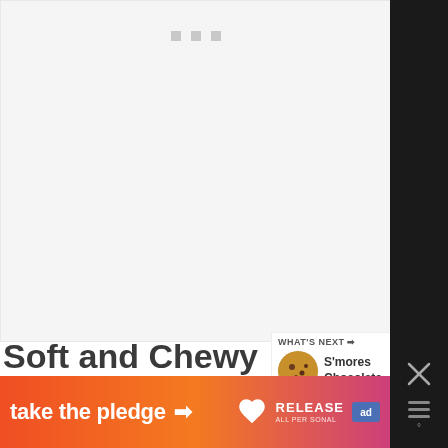[Figure (photo): Hero image area - loading placeholder with light gray background and three small gray squares at top center]
Soft and Chewy Pumpkin Chocolate Chip Cookies
[Figure (infographic): What's Next panel showing S'mores Chocolate... with a thumbnail image of cookies]
[Figure (infographic): Take the pledge ad banner with orange-pink gradient, arrow, Release logo and ad badge, with black right strip containing X close and menu bars]